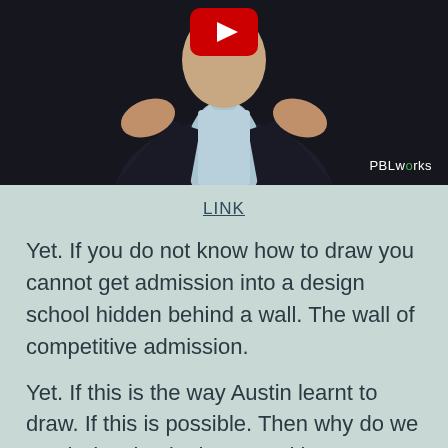[Figure (screenshot): YouTube video thumbnail showing a man in a dark suit gesturing with his hands, PBLworks logo in bottom right corner, YouTube play button at top center]
LINK
Yet. If you do not know how to draw you cannot get admission into a design school hidden behind a wall. The wall of competitive admission.
Yet. If this is the way Austin learnt to draw. If this is possible. Then why do we teach drawing in that 'repetitive' way? Keep at it. Again and